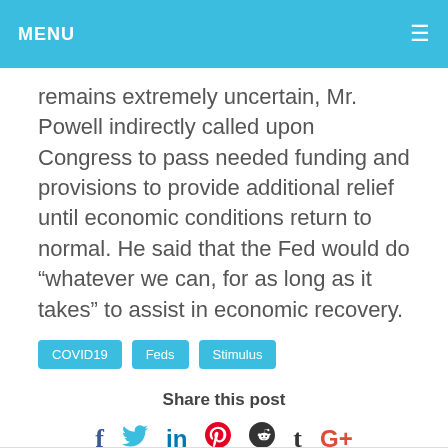MENU
remains extremely uncertain, Mr. Powell indirectly called upon Congress to pass needed funding and provisions to provide additional relief until economic conditions return to normal. He said that the Fed would do “whatever we can, for as long as it takes” to assist in economic recovery.
COVID19
Feds
Stimulus
Share this post